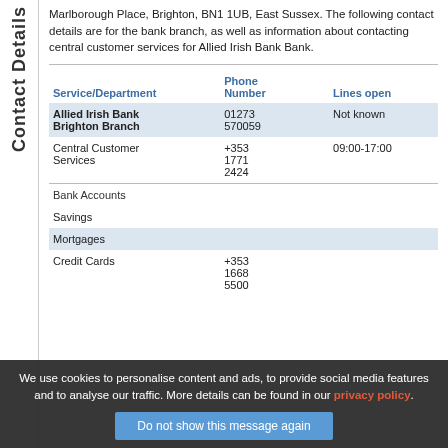Contact Details
Marlborough Place, Brighton, BN1 1UB, East Sussex. The following contact details are for the bank branch, as well as information about contacting central customer services for Allied Irish Bank Bank.
| Service/Department | Phone Number | Lines open |
| --- | --- | --- |
| Allied Irish Bank Brighton Branch | 01273 570059 | Not known |
| Central Customer Services | +353 1771 2424 | 09:00-17:00 |
| Bank Accounts |  |  |
| Savings |  |  |
| Mortgages |  |  |
| Credit Cards | +353 |  |
We use cookies to personalise content and ads, to provide social media features and to analyse our traffic. More details can be found in our privacy policy.
Do not show this message again